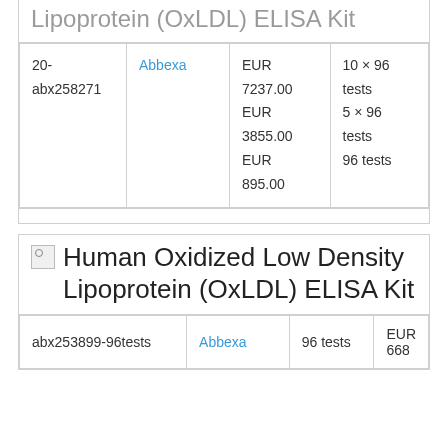Human Oxidized Low Density Lipoprotein (OxLDL) ELISA Kit
| ID | Supplier | Price | Size |
| --- | --- | --- | --- |
| 20-abx258271 | Abbexa | EUR 7237.00
EUR 3855.00
EUR 895.00 | 10 × 96 tests
5 × 96 tests
96 tests |
[Figure (photo): Broken image placeholder icon]
Human Oxidized Low Density Lipoprotein (OxLDL) ELISA Kit
| ID | Supplier | Size | Price |
| --- | --- | --- | --- |
| abx253899-96tests | Abbexa | 96 tests | EUR 668 |